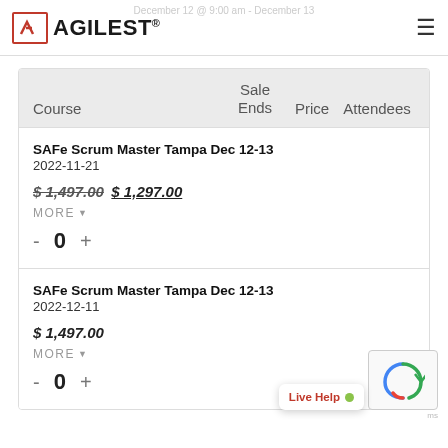AGILEST
| Course | Sale Ends | Price | Attendees |
| --- | --- | --- | --- |
| SAFe Scrum Master Tampa Dec 12-13
2022-11-21 |  | $ 1,497.00 $ 1,297.00 | 0 |
| SAFe Scrum Master Tampa Dec 12-13
2022-12-11 |  | $ 1,497.00 | 0 |